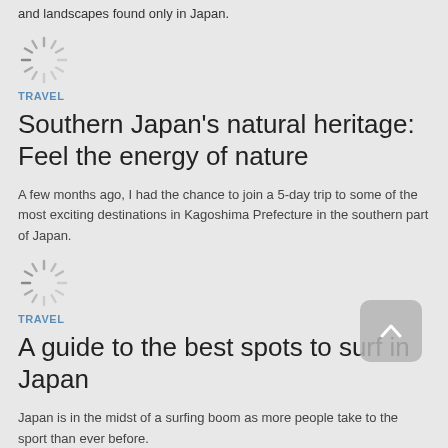and landscapes found only in Japan.
[Figure (illustration): Loading spinner icon (gray radial lines)]
TRAVEL
Southern Japan's natural heritage: Feel the energy of nature
A few months ago, I had the chance to join a 5-day trip to some of the most exciting destinations in Kagoshima Prefecture in the southern part of Japan.
[Figure (illustration): Loading spinner icon (gray radial lines)]
TRAVEL
A guide to the best spots to surf in Japan
Japan is in the midst of a surfing boom as more people take to the sport than ever before.
[Figure (illustration): Partial loading spinner icon at bottom of page]